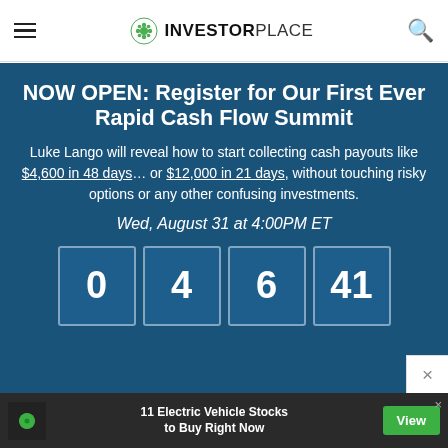INVESTORPLACE
NOW OPEN: Register for Our First Ever Rapid Cash Flow Summit
Luke Lango will reveal how to start collecting cash payouts like $4,600 in 48 days… or $12,000 in 21 days, without touching risky options or any other confusing investments.
Wed, August 31 at 4:00PM ET
[Figure (other): Countdown timer showing boxes with numbers: 0, 4, 6, 41]
11 Electric Vehicle Stocks to Buy Right Now